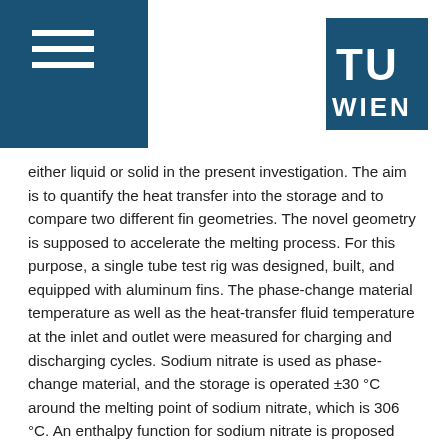[Figure (logo): TU Wien logo — white TU WIEN text on dark blue square background, top right corner. Left side has dark blue bar with three white horizontal lines (hamburger menu icon).]
either liquid or solid in the present investigation. The aim is to quantify the heat transfer into the storage and to compare two different fin geometries. The novel geometry is supposed to accelerate the melting process. For this purpose, a single tube test rig was designed, built, and equipped with aluminum fins. The phase-change material temperature as well as the heat-transfer fluid temperature at the inlet and outlet were measured for charging and discharging cycles. Sodium nitrate is used as phase-change material, and the storage is operated ±30 °C around the melting point of sodium nitrate, which is 306 °C. An enthalpy function for sodium nitrate is proposed and the methodology for determining the apparent heat-transfer rate is provided. The phase-change material temperature trends are shown and analyzed; different melting in radial and axial directions and in the individual geometry sections occurs. With the enthalpy function for sodium nitrate, the energy balance is determined over the melting range. Values for the apparent heat-transfer coefficient are derived, which allow capacity and power estimations for industrial-scale